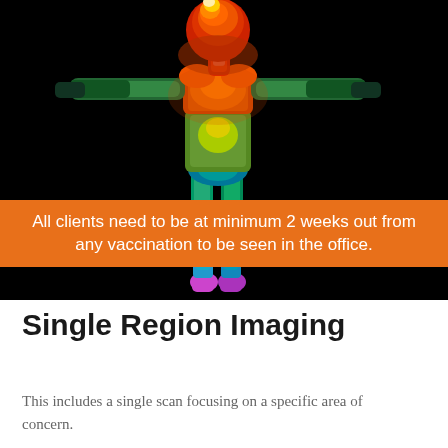[Figure (photo): Thermal infrared image of a human body (full body, front view, arms outstretched) against a black background, showing heat map colors from white/red at head/torso, yellow/green at mid-body, teal/blue at lower legs and feet, with a magenta/purple at the feet. An orange banner overlay reads: All clients need to be at minimum 2 weeks out from any vaccination to be seen in the office.]
Single Region Imaging
This includes a single scan focusing on a specific area of concern.